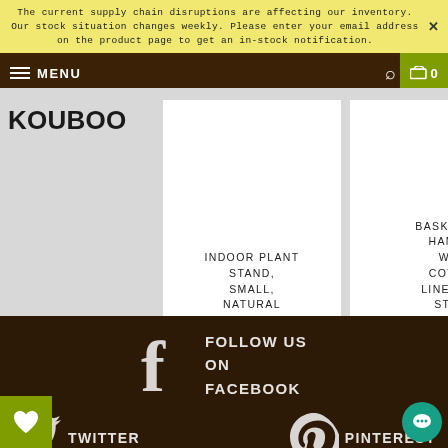The current supply chain disruptions are affecting our inventory. Our stock situation changes weekly. Please enter your email address on the product page to get an in-stock notification.
MENU | search | cart 0
[Figure (logo): KOUBOO brand logo in bold black sans-serif text]
INDOOR PLANT STAND, SMALL, NATURAL
$69.50 USD
BASKET AND HAMPER WITH COTTON LINER AND STAND
$175.00 USD
FOLLOW US ON FACEBOOK
TWITTER
PINTEREST